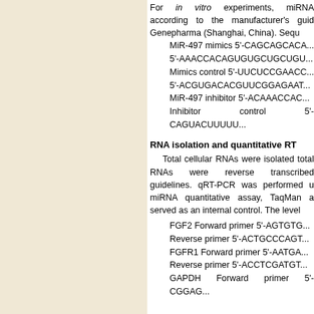For in vitro experiments, miRNA according to the manufacturer's guidelines Genepharma (Shanghai, China). Sequ
MiR-497 mimics 5'-CAGCAGCAC...
5'-AAACCACAGUGUGCUGCUGU...
Mimics control 5'-UUCUCCGAAC...
5'-ACGUGACACGUUCGGAGAAT...
MiR-497 inhibitor 5'-ACAAACCA C...
Inhibitor control 5'-CAGUACUUUU...
RNA isolation and quantitative RT
Total cellular RNAs were isolated total RNAs were reverse transcribed guidelines. qRT-PCR was performed u miRNA quantitative assay, TaqMan a served as an internal control. The level
FGF2 Forward primer 5'-AGTGTG...
Reverse primer 5'-ACTGCCCAGT...
FGFR1 Forward primer 5'-AATGA...
Reverse primer 5'-ACCTCGATGT...
GAPDH Forward primer 5'-CGGA G...